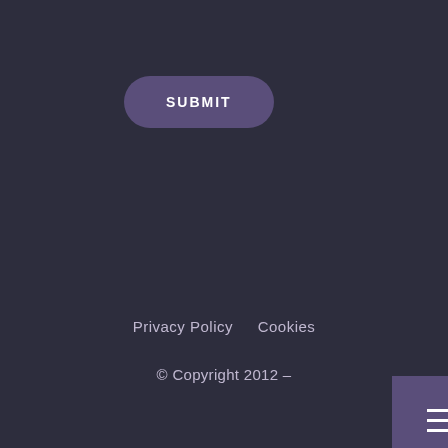SUBMIT
[Figure (other): Hamburger menu icon button — three horizontal white lines on a purple square background]
Privacy Policy     Cookies
© Copyright 2012 –